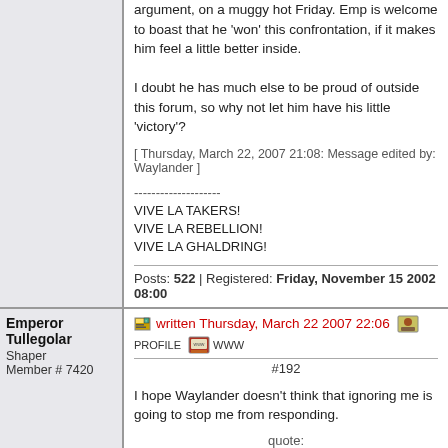argument, on a muggy hot Friday. Emp is welcome to boast that he 'won' this confrontation, if it makes him feel a little better inside.

I doubt he has much else to be proud of outside this forum, so why not let him have his little 'victory'?
[ Thursday, March 22, 2007 21:08: Message edited by: Waylander ]
--------------------
VIVE LA TAKERS!
VIVE LA REBELLION!
VIVE LA GHALDRING!
Posts: 522 | Registered: Friday, November 15 2002 08:00
Emperor Tullegolar
Shaper
Member # 7420
written Thursday, March 22 2007 22:06   PROFILE  WWW
#192
I hope Waylander doesn't think that ignoring me is going to stop me from responding.
quote: